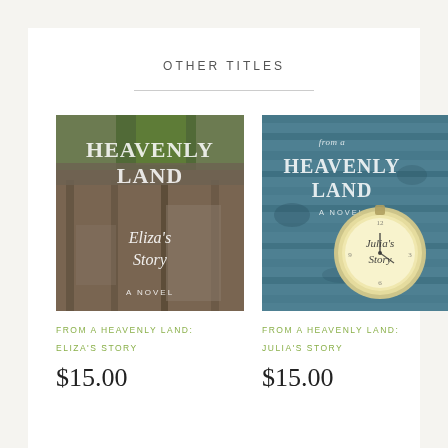OTHER TITLES
[Figure (photo): Book cover: From a Heavenly Land: Eliza's Story - old wooden porch building background with cursive title overlay]
FROM A HEAVENLY LAND:
ELIZA'S STORY
$15.00
[Figure (photo): Book cover: From a Heavenly Land: Julia's Story - blue weathered wood background with pocket watch and cursive title overlay]
FROM A HEAVENLY LAND:
JULIA'S STORY
$15.00